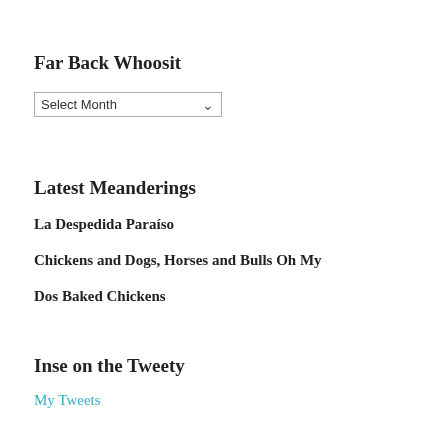Far Back Whoosit
[Figure (other): A dropdown select element labeled 'Select Month' with a chevron arrow on the right]
Latest Meanderings
La Despedida Paraíso
Chickens and Dogs, Horses and Bulls Oh My
Dos Baked Chickens
Inse on the Tweety
My Tweets